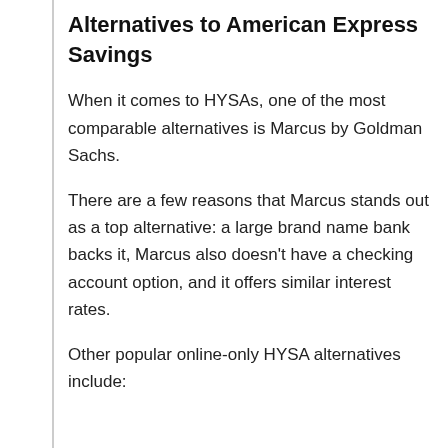Alternatives to American Express Savings
When it comes to HYSAs, one of the most comparable alternatives is Marcus by Goldman Sachs.
There are a few reasons that Marcus stands out as a top alternative: a large brand name bank backs it, Marcus also doesn’t have a checking account option, and it offers similar interest rates.
Other popular online-only HYSA alternatives include: